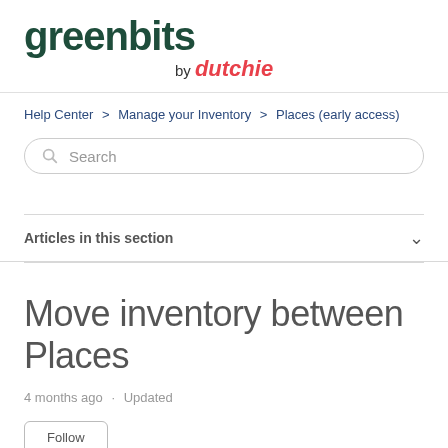greenbits by dutchie
Help Center > Manage your Inventory > Places (early access)
[Figure (other): Search bar with magnifying glass icon and placeholder text 'Search']
Articles in this section
Move inventory between Places
4 months ago · Updated